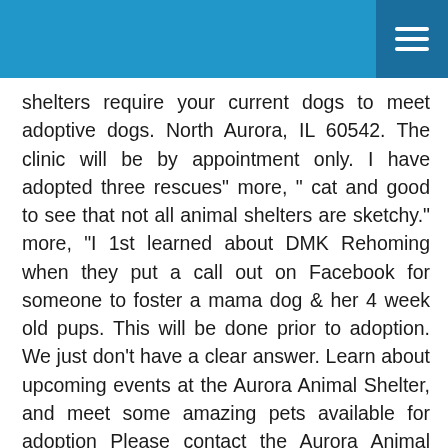shelters require your current dogs to meet adoptive dogs. North Aurora, IL 60542. The clinic will be by appointment only. I have adopted three rescues" more, " cat and good to see that not all animal shelters are sketchy." more, "I 1st learned about DMK Rehoming when they put a call out on Facebook for someone to foster a mama dog & her 4 week old pups. This will be done prior to adoption. We just don’t have a clear answer. Learn about upcoming events at the Aurora Animal Shelter, and meet some amazing pets available for adoption Please contact the Aurora Animal Shelter directly to find out what your adoption fee includes. YP - The Real Yellow Pages SM - helps you find the right local businesses to meet your specific needs. State law requires all animals that are adopted from a public animal shelter be neutered/spayed. Adoption fees at Aurora Animal Shelter are as follows: A 50% discount is available to